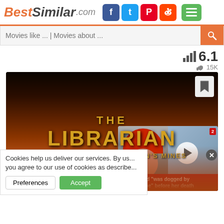BestSimilar.com
Movies like ... | Movies about ...
6.1  👍 15K
[Figure (photo): Movie poster for 'The Librarian: Return to King Solomon's Mines' with dark orange and black background]
Cookies help us deliver our services. By us... you agree to our use of cookies as describe...
[Figure (photo): Video thumbnail showing a woman with red hair, with caption 'Naomi Judd was dogged by an unfair foe before her death']